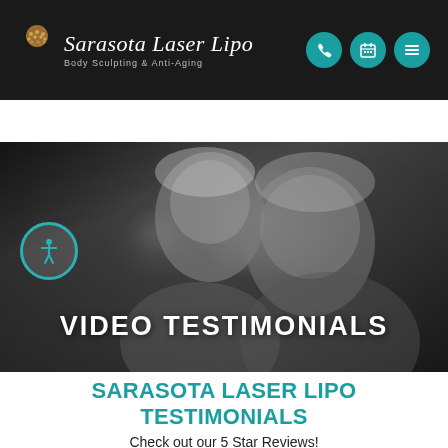Sarasota Laser Lipo — Body Sculpting & Anti-Aging
COVID-19 INFO
[Figure (photo): Grayscale photo of a smiling couple embracing, used as a hero background image. Text overlay reads VIDEO TESTIMONIALS. Accessibility icon in bottom-left. Navigation icons (phone, calendar, menu) in header top-right.]
SARASOTA LASER LIPO TESTIMONIALS
Check out our 5 Star Reviews!